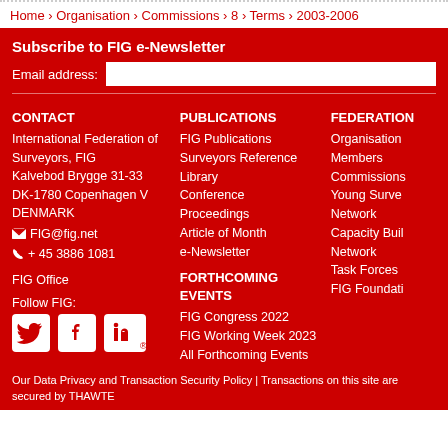Home › Organisation › Commissions › 8 › Terms › 2003-2006
Subscribe to FIG e-Newsletter
Email address:
CONTACT
International Federation of Surveyors, FIG
Kalvebod Brygge 31-33
DK-1780 Copenhagen V
DENMARK
FIG@fig.net
+ 45 3886 1081

FIG Office

Follow FIG:
PUBLICATIONS
FIG Publications
Surveyors Reference Library
Conference Proceedings
Article of Month
e-Newsletter
FORTHCOMING EVENTS
FIG Congress 2022
FIG Working Week 2023
All Forthcoming Events
FEDERATION
Organisation
Members
Commissions
Young Surveyors Network
Capacity Building Network
Task Forces
FIG Foundation
Our Data Privacy and Transaction Security Policy | Transactions on this site are secured by THAWTE